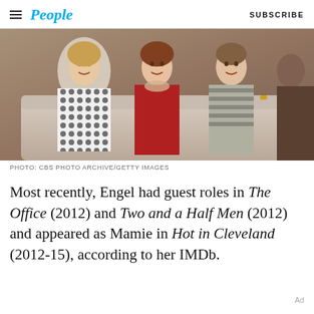People  SUBSCRIBE
[Figure (photo): Three women seated together on a couch or set, wearing colorful 1970s-style outfits, smiling at the camera. Black and white patterned dress on left, red outfit in center, striped cardigan on right.]
PHOTO: CBS PHOTO ARCHIVE/GETTY IMAGES
Most recently, Engel had guest roles in The Office (2012) and Two and a Half Men (2012) and appeared as Mamie in Hot in Cleveland (2012-15), according to her IMDb.
Ad